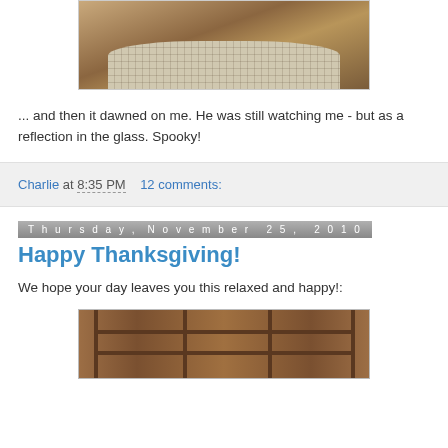[Figure (photo): A cat sleeping/resting on a plaid pet bed, viewed from above]
... and then it dawned on me. He was still watching me - but as a reflection in the glass. Spooky!
Charlie at 8:35 PM   12 comments:
Thursday, November 25, 2010
Happy Thanksgiving!
We hope your day leaves you this relaxed and happy!:
[Figure (photo): A wooden entertainment center/TV cabinet with glass doors and multiple shelves]